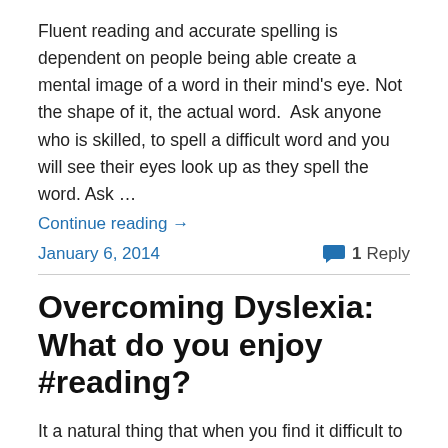Fluent reading and accurate spelling is dependent on people being able create a mental image of a word in their mind's eye. Not the shape of it, the actual word.  Ask anyone who is skilled, to spell a difficult word and you will see their eyes look up as they spell the word. Ask …
Continue reading →
January 6, 2014
1 Reply
Overcoming Dyslexia: What do you enjoy #reading?
It a natural thing that when you find it difficult to read, or in some cases impossible you make up all sorts of reasons why it doesn't matter, to avoid feeling stupid. You convince yourself that there is no value in books; they are on topics